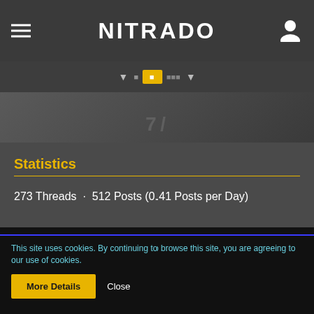NITRADO
Statistics
273 Threads · 512 Posts (0.41 Posts per Day)
Information
Terms & Conditions
Privacy Policy
This site uses cookies. By continuing to browse this site, you are agreeing to our use of cookies.